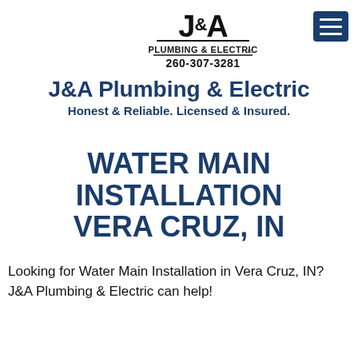[Figure (logo): J&A Plumbing & Electric logo with stylized J&A text and phone number 260-307-3281]
J&A Plumbing & Electric
Honest & Reliable. Licensed & Insured.
WATER MAIN INSTALLATION VERA CRUZ, IN
Looking for Water Main Installation in Vera Cruz, IN? J&A Plumbing & Electric can help!